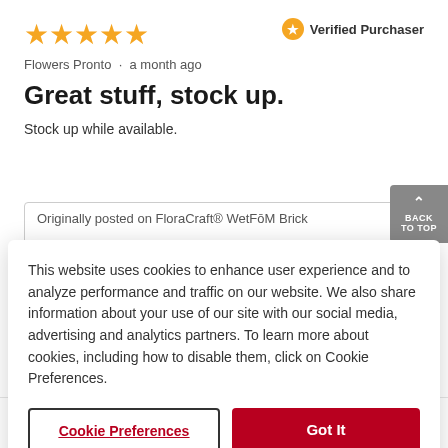[Figure (other): Five gold star rating icons]
Verified Purchaser
Flowers Pronto · a month ago
Great stuff, stock up.
Stock up while available.
Originally posted on FloraCraft® WetFōM Brick
This website uses cookies to enhance user experience and to analyze performance and traffic on our website. We also share information about your use of our site with our social media, advertising and analytics partners. To learn more about cookies, including how to disable them, click on Cookie Preferences.
Cookie Preferences
Got It
Great